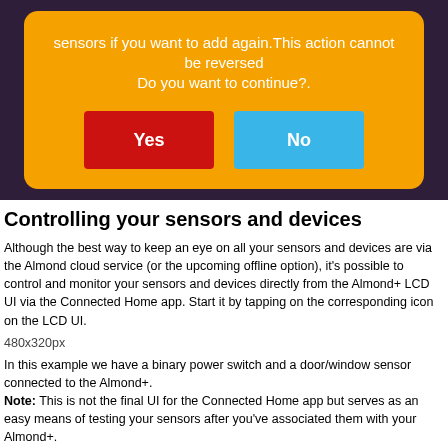[Figure (screenshot): Mobile app dialog on dark purple background. Orange dialog box with white text: 'sensors if you want to add again. This action cannot be reversed. Do you want to continue?.' Two buttons: red 'Yes' and blue 'No'.]
Controlling your sensors and devices
Although the best way to keep an eye on all your sensors and devices are via the Almond cloud service (or the upcoming offline option), it's possible to control and monitor your sensors and devices directly from the Almond+ LCD UI via the Connected Home app. Start it by tapping on the corresponding icon on the LCD UI.
480x320px
In this example we have a binary power switch and a door/window sensor connected to the Almond+.
Note: This is not the final UI for the Connected Home app but serves as an easy means of testing your sensors after you've associated them with your Almond+.